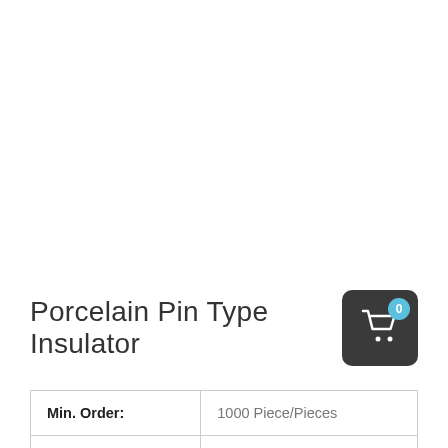Porcelain Pin Type Insulator
| Min. Order: | 1000 Piece/Pieces |
| Payment Terms: | L/C, T/T |
|  |  |